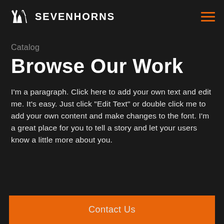SEVENHORNS
Catalog
Browse Our Work
I'm a paragraph. Click here to add your own text and edit me. It's easy. Just click "Edit Text" or double click me to add your own content and make changes to the font. I'm a great place for you to tell a story and let your users know a little more about you.
Contact Us